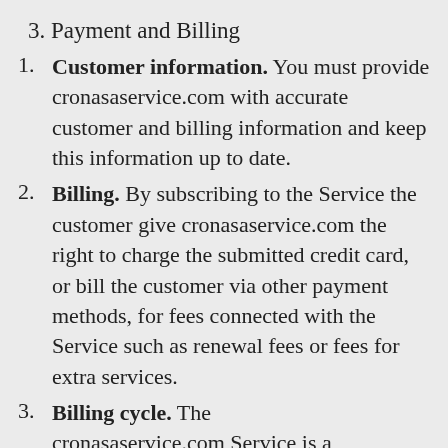3. Payment and Billing
Customer information. You must provide cronasaservice.com with accurate customer and billing information and keep this information up to date.
Billing. By subscribing to the Service the customer give cronasaservice.com the right to charge the submitted credit card, or bill the customer via other payment methods, for fees connected with the Service such as renewal fees or fees for extra services.
Billing cycle. The cronasaservice.com Service is a